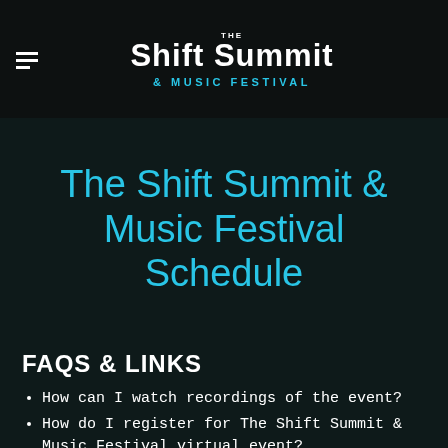The Shift Summit & Music Festival
The Shift Summit & Music Festival Schedule
FAQS & LINKS
How can I watch recordings of the event?
How do I register for The Shift Summit & Music Festival virtual event?